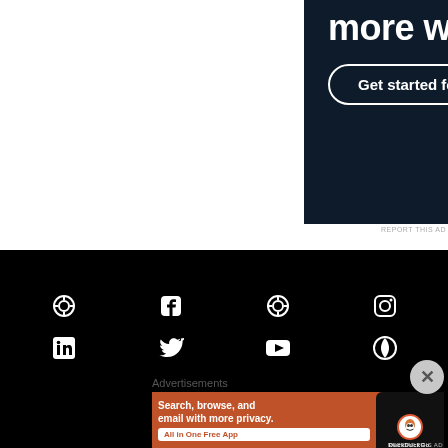[Figure (screenshot): Top advertisement banner with dark navy background showing 'more work.' headline and 'Get started for free' button]
[Figure (screenshot): Black footer area with social media icons: two circular icons, Facebook, two circular icons, Instagram in top row; LinkedIn, Twitter, YouTube, Pinterest in bottom row]
Advertisements
[Figure (screenshot): DuckDuckGo advertisement: orange/red background with 'Search, browse, and email with more privacy. All in One Free App' text and a phone mockup showing DuckDuckGo app]